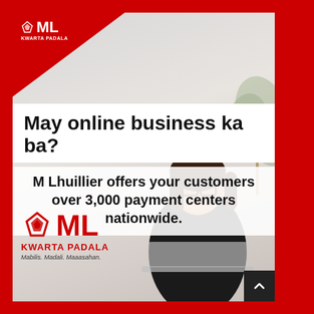[Figure (illustration): M Lhuillier Kwarta Padala advertisement. Red background with a white card. Top-left diagonal red triangle with ML Kwarta Padala logo in white. Background shows a woman with glasses working at a laptop in an office setting with plants. Large bold headline text. Bottom-left shows the ML Kwarta Padala logo in red with tagline.]
May online business ka ba?
M Lhuillier offers your customers over 3,000 payment centers nationwide.
[Figure (logo): ML Kwarta Padala logo with red diamond/gem icon, red ML text, KWARTA PADALA text in red, and tagline: Mabilis. Madali. Maaasahan.]